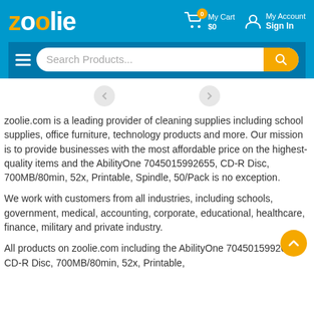[Figure (screenshot): Zoolie.com website header with logo, My Cart showing $0 with badge 0, My Account / Sign In link, hamburger menu, and search bar with orange search button]
zoolie.com is a leading provider of cleaning supplies including school supplies, office furniture, technology products and more. Our mission is to provide businesses with the most affordable price on the highest-quality items and the AbilityOne 7045015992655, CD-R Disc, 700MB/80min, 52x, Printable, Spindle, 50/Pack is no exception.
We work with customers from all industries, including schools, government, medical, accounting, corporate, educational, healthcare, finance, military and private industry.
All products on zoolie.com including the AbilityOne 7045015992655, CD-R Disc, 700MB/80min, 52x, Printable, Spindle, 50/Pack are manufactured to AS9001 quality